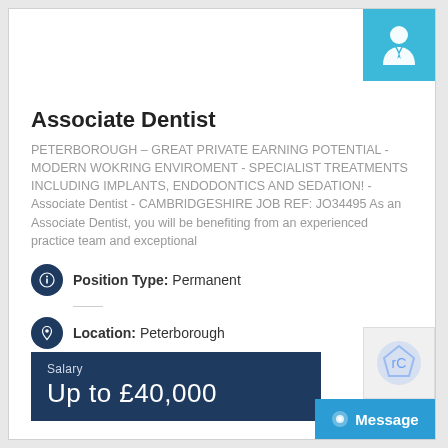Associate Dentist
PETERBOROUGH – GREAT PRIVATE EARNING POTENTIAL - MODERN WOKRING ENVIROMENT - SPECIALIST TREATMENTS INCLUDING IMPLANTS, ENDODONTICS AND SEDATION!  - Associate Dentist - CAMBRIDGESHIRE JOB REF: JO34495 As an Associate Dentist, you will be benefiting from an experienced practice team and exceptional
Position Type: Permanent
Location: Peterborough
Salary
Up to £40,000